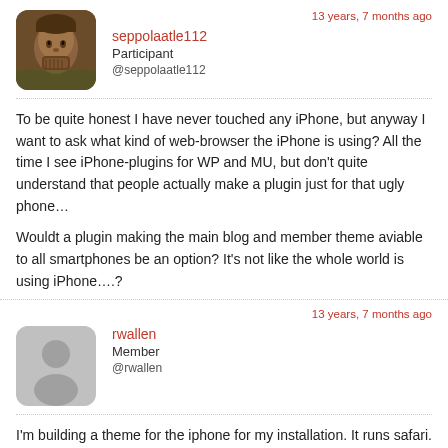13 years, 7 months ago
seppolaatle112
Participant
@seppolaatle112
To be quite honest I have never touched any iPhone, but anyway I want to ask what kind of web-browser the iPhone is using? All the time I see iPhone-plugins for WP and MU, but don't quite understand that people actually make a plugin just for that ugly phone…

Wouldt a plugin making the main blog and member theme aviable to all smartphones be an option? It's not like the whole world is using iPhone….?
13 years, 7 months ago
rwallen
Member
@rwallen
I'm building a theme for the iphone for my installation. It runs safari. m.digg.com is a nice iPhone site if you want to look at their code.